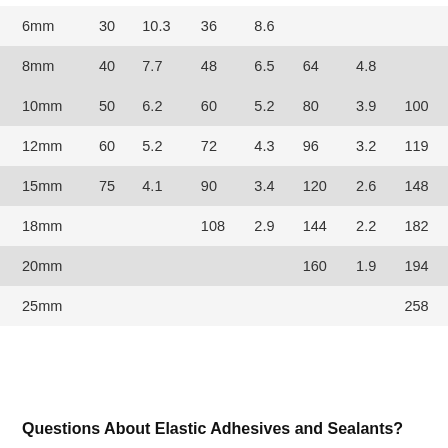| 6mm | 30 | 10.3 | 36 | 8.6 |  |  |  |
| 8mm | 40 | 7.7 | 48 | 6.5 | 64 | 4.8 |  |
| 10mm | 50 | 6.2 | 60 | 5.2 | 80 | 3.9 | 100 |
| 12mm | 60 | 5.2 | 72 | 4.3 | 96 | 3.2 | 119 |
| 15mm | 75 | 4.1 | 90 | 3.4 | 120 | 2.6 | 148 |
| 18mm |  |  | 108 | 2.9 | 144 | 2.2 | 182 |
| 20mm |  |  |  |  | 160 | 1.9 | 194 |
| 25mm |  |  |  |  |  |  | 258 |
Questions About Elastic Adhesives and Sealants?